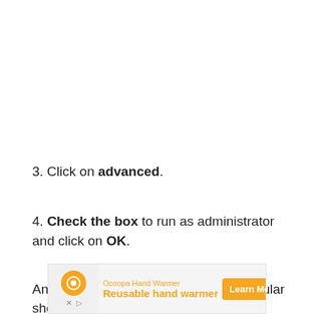3. Click on advanced.
4. Check the box to run as administrator and click on OK.
Anytime you lunch OBS with that particular shortcut, it
[Figure (other): Advertisement banner for Ocoopa Hand Warmer showing orange icon with text 'Reusable hand warmer' and a 'Learn More' button]